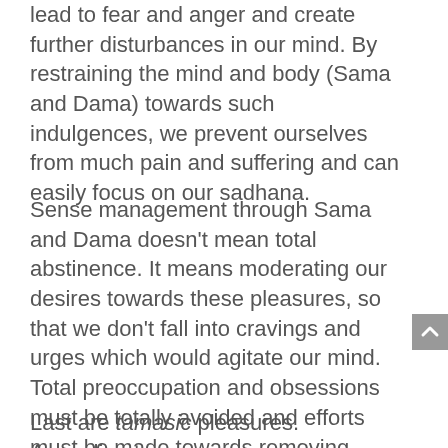lead to fear and anger and create further disturbances in our mind. By restraining the mind and body (Sama and Dama) towards such indulgences, we prevent ourselves from much pain and suffering and can easily focus on our sadhana.
Sense management through Sama and Dama doesn't mean total abstinence. It means moderating our desires towards these pleasures, so that we don't fall into cravings and urges which would agitate our mind. Total preoccupation and obsessions must be totally avoided and efforts must be made towards removing them if we are to succeed in our sadhana.
Last are tamasic pleasures. According to